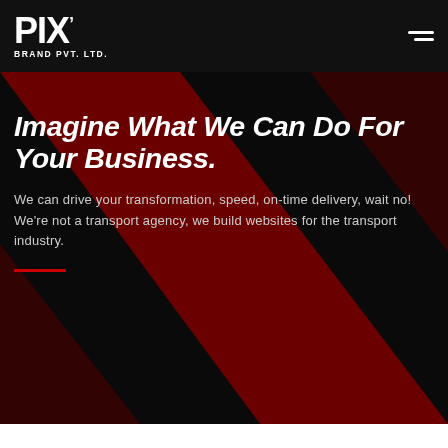[Figure (logo): PIX Brand Pvt. Ltd. logo — white bold 'PIX' text with a stylized X, and 'BRAND PVT. LTD.' subtitle below]
Imagine What We Can Do For Your Business.
We can drive your transformation, speed, on-time delivery, wait no! We're not a transport agency, we build websites for the transport industry.